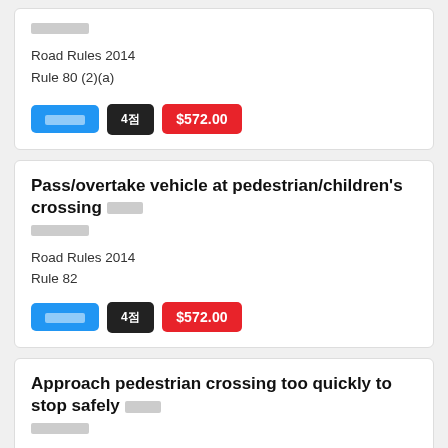[redacted]
Road Rules 2014
Rule 80 (2)(a)
[badge] 4점 $572.00
Pass/overtake vehicle at pedestrian/children's crossing [redacted]
[redacted]
Road Rules 2014
Rule 82
[badge] 4점 $572.00
Approach pedestrian crossing too quickly to stop safely [redacted]
[redacted]
Road Rules 2014